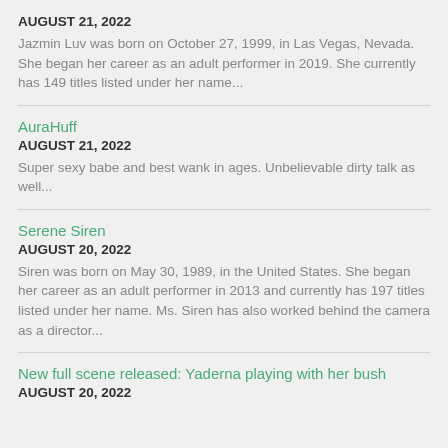AUGUST 21, 2022
Jazmin Luv was born on October 27, 1999, in Las Vegas, Nevada. She began her career as an adult performer in 2019. She currently has 149 titles listed under her name...
AuraHuff
AUGUST 21, 2022
Super sexy babe and best wank in ages. Unbelievable dirty talk as well...
Serene Siren
AUGUST 20, 2022
Siren was born on May 30, 1989, in the United States. She began her career as an adult performer in 2013 and currently has 197 titles listed under her name. Ms. Siren has also worked behind the camera as a director...
New full scene released: Yaderna playing with her bush
AUGUST 20, 2022